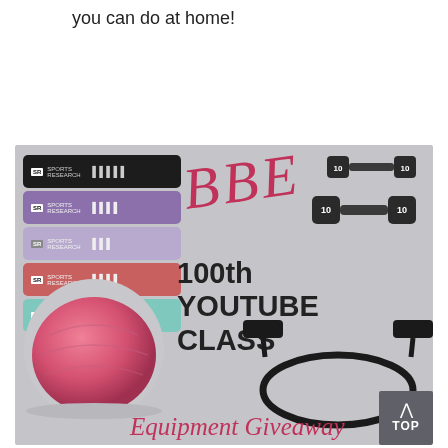you can do at home!
[Figure (photo): Promotional image for 100th YouTube Class Equipment Giveaway featuring resistance bands (BBE Sports Research brand in black, purple, light purple, pink, and teal), a pair of 10lb dumbbells, a pink balance/bosu ball, and a resistance tube with handles. Text overlays include 'BBE' in pink script, '100th YOUTUBE CLASS' in bold black, and 'Equipment Giveaway' in pink script.]